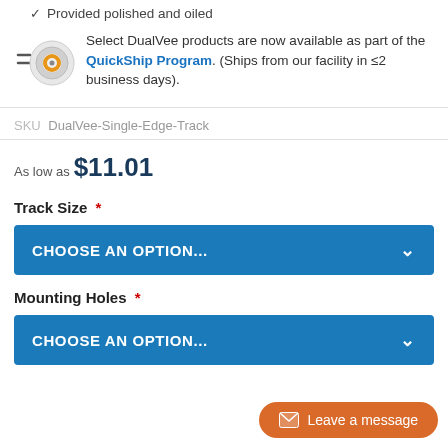Provided polished and oiled
Select DualVee products are now available as part of the QuickShip Program. (Ships from our facility in ≤2 business days).
SKU  DualVee-Single-Edge-Track
As low as $11.01
Track Size *
CHOOSE AN OPTION...
Mounting Holes *
CHOOSE AN OPTION
Leave a message